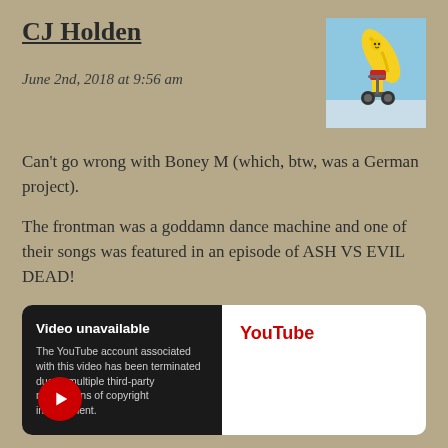CJ Holden
June 2nd, 2018 at 9:56 am
[Figure (illustration): Avatar image of an animated banana character riding a segway, wearing red shorts, against a blue background.]
Can't go wrong with Boney M (which, btw, was a German project).
The frontman was a goddamn dance machine and one of their songs was featured in an episode of ASH VS EVIL DEAD!
[Figure (screenshot): Embedded YouTube video player showing 'Video unavailable' message: 'The YouTube account associated with this video has been terminated due to multiple third-party notifications of copyright infringement.' with YouTube branding and play button icon.]